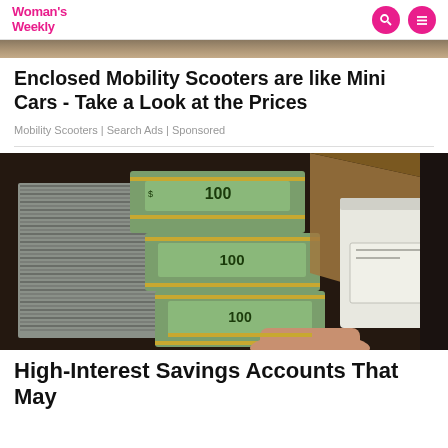Woman's Weekly
[Figure (photo): Partial view of a surface, cropped top strip]
Enclosed Mobility Scooters are like Mini Cars - Take a Look at the Prices
Mobility Scooters | Search Ads | Sponsored
[Figure (photo): Stacks of $100 dollar bills bundled with rubber bands being held over a box, with storage boxes in the background]
High-Interest Savings Accounts That May